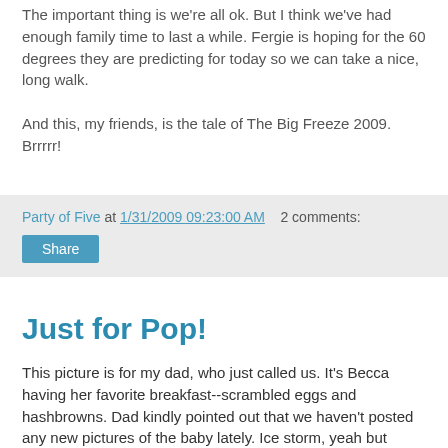The important thing is we're all ok. But I think we've had enough family time to last a while. Fergie is hoping for the 60 degrees they are predicting for today so we can take a nice, long walk.

And this, my friends, is the tale of The Big Freeze 2009. Brrrrr!
Party of Five at 1/31/2009 09:23:00 AM   2 comments:
Share
Just for Pop!
This picture is for my dad, who just called us. It's Becca having her favorite breakfast--scrambled eggs and hashbrowns. Dad kindly pointed out that we haven't posted any new pictures of the baby lately. Ice storm, yeah but Becca, no. Thanks, Dad. You are just as bad as the women who read the blog!